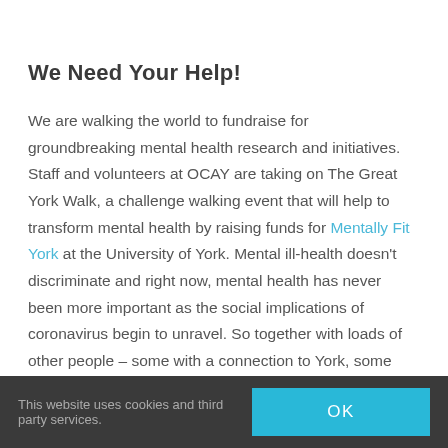We Need Your Help!
We are walking the world to fundraise for groundbreaking mental health research and initiatives. Staff and volunteers at OCAY are taking on The Great York Walk, a challenge walking event that will help to transform mental health by raising funds for Mentally Fit York at the University of York. Mental ill-health doesn't discriminate and right now, mental health has never been more important as the social implications of coronavirus begin to unravel. So together with loads of other people – some with a connection to York, some with no connection, we are going to be
This website uses cookies and third party services.